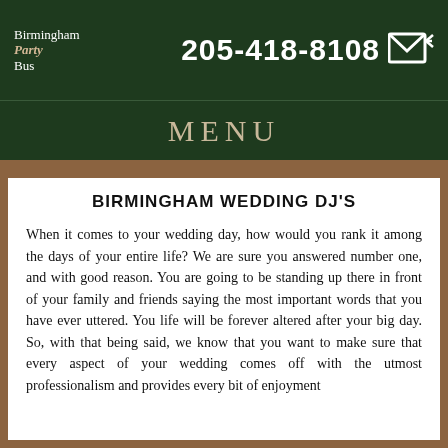Birmingham Party Bus | 205-418-8108
MENU
BIRMINGHAM WEDDING DJ'S
When it comes to your wedding day, how would you rank it among the days of your entire life? We are sure you answered number one, and with good reason. You are going to be standing up there in front of your family and friends saying the most important words that you have ever uttered. You life will be forever altered after your big day. So, with that being said, we know that you want to make sure that every aspect of your wedding comes off with the utmost professionalism and provides every bit of enjoyment